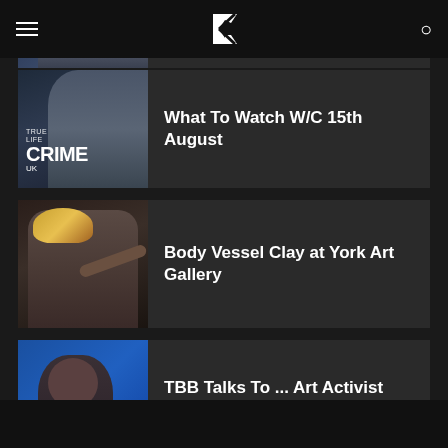TBB — What To Watch W/C 15th August | Body Vessel Clay at York Art Gallery | TBB Talks To ... Art Activist Bisila Noha
What To Watch W/C 15th August
[Figure (photo): True Life Crime UK show logo/image with woman in background]
What To Watch W/C 15th August
[Figure (photo): Two people holding hands, one older person, art gallery setting]
Body Vessel Clay at York Art Gallery
[Figure (photo): Woman with short hair against blue background — Bisila Noha]
TBB Talks To ... Art Activist Bisila Noha